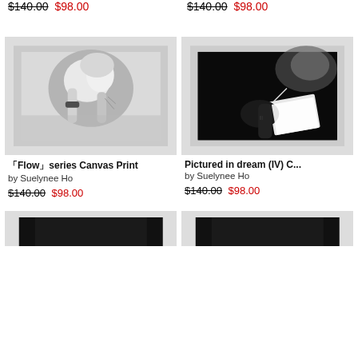$140.00 $98.00 (top-left, previous item price row)
$140.00 $98.00 (top-right, previous item price row)
[Figure (photo): Black and white artistic photo of a woman with blonde hair and tattoos, from the Flow series canvas print by Suelynee Ho]
「Flow」series Canvas Print
by Suelynee Ho
$140.00 $98.00
[Figure (photo): Black and white artistic photo of hands holding illuminated paper/object in dark background, Pictured in dream (IV) canvas print by Suelynee Ho]
Pictured in dream (IV) C...
by Suelynee Ho
$140.00 $98.00
[Figure (photo): Bottom partial card left - black and white photo partially visible]
[Figure (photo): Bottom partial card right - black and white photo partially visible]